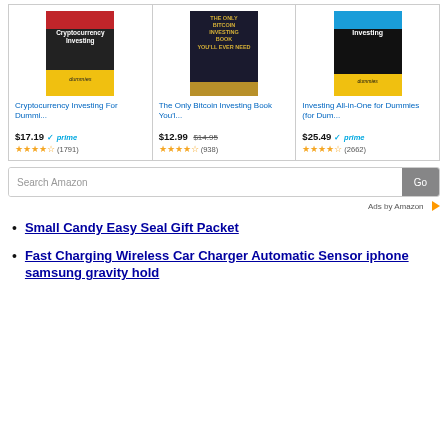[Figure (screenshot): Amazon sponsored books ad showing three cryptocurrency/investing books: Cryptocurrency Investing For Dummies ($17.19, prime, 4.5 stars, 1791 reviews), The Only Bitcoin Investing Book You'll Ever Need ($12.99 was $14.95, 4.5 stars, 938 reviews), Investing All-in-One for Dummies ($25.49, prime, 4.5 stars, 2662 reviews), with a Search Amazon box and Go button, and Ads by Amazon label]
Small Candy Easy Seal Gift Packet
Fast Charging Wireless Car Charger Automatic Sensor iphone samsung gravity hold